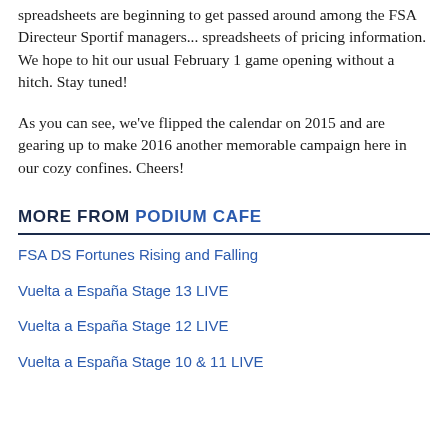spreadsheets are beginning to get passed around among the FSA Directeur Sportif managers... spreadsheets of pricing information. We hope to hit our usual February 1 game opening without a hitch. Stay tuned!
As you can see, we've flipped the calendar on 2015 and are gearing up to make 2016 another memorable campaign here in our cozy confines. Cheers!
MORE FROM PODIUM CAFE
FSA DS Fortunes Rising and Falling
Vuelta a España Stage 13 LIVE
Vuelta a España Stage 12 LIVE
Vuelta a España Stage 10 & 11 LIVE